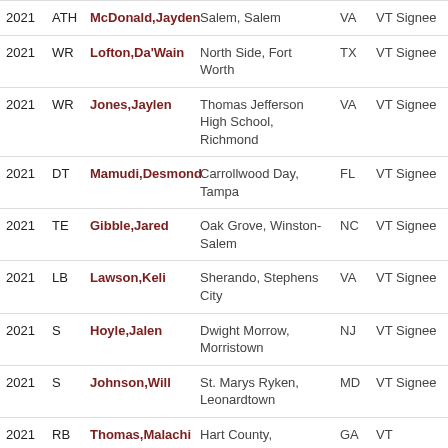| Year | Pos | Name | School | State | Status |
| --- | --- | --- | --- | --- | --- |
| 2021 | ATH | McDonald,Jayden | Salem, Salem | VA | VT Signee |
| 2021 | WR | Lofton,Da'Wain | North Side, Fort Worth | TX | VT Signee |
| 2021 | WR | Jones,Jaylen | Thomas Jefferson High School, Richmond | VA | VT Signee |
| 2021 | DT | Mamudi,Desmond | Carrollwood Day, Tampa | FL | VT Signee |
| 2021 | TE | Gibble,Jared | Oak Grove, Winston-Salem | NC | VT Signee |
| 2021 | LB | Lawson,Keli | Sherando, Stephens City | VA | VT Signee |
| 2021 | S | Hoyle,Jalen | Dwight Morrow, Morristown | NJ | VT Signee |
| 2021 | S | Johnson,Will | St. Marys Ryken, Leonardtown | MD | VT Signee |
| 2021 | RB | Thomas,Malachi | Hart County, | GA | VT |